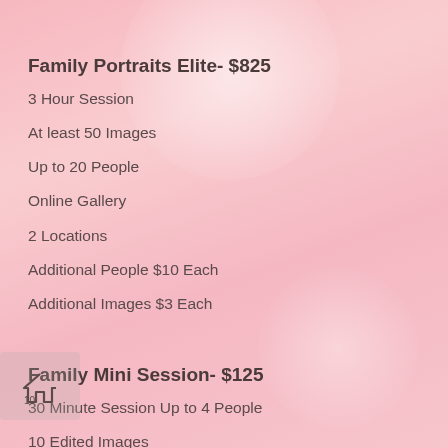Family Portraits Elite- $825
3 Hour Session
At least 50 Images
Up to 20 People
Online Gallery
2 Locations
Additional People $10 Each
Additional Images $3 Each
Family Mini Session- $125
30 Minute Session Up to 4 People
10 Edited Images
Online Gallery